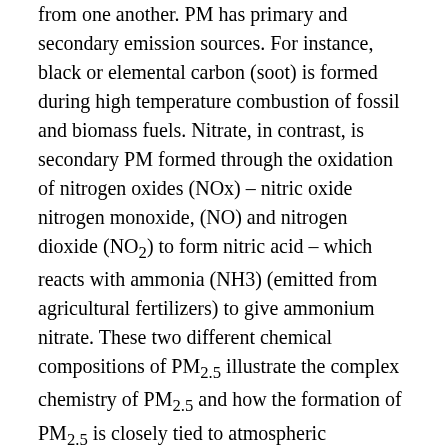from one another. PM has primary and secondary emission sources. For instance, black or elemental carbon (soot) is formed during high temperature combustion of fossil and biomass fuels. Nitrate, in contrast, is secondary PM formed through the oxidation of nitrogen oxides (NOx) – nitric oxide nitrogen monoxide, (NO) and nitrogen dioxide (NO₂) to form nitric acid – which reacts with ammonia (NH3) (emitted from agricultural fertilizers) to give ammonium nitrate. These two different chemical compositions of PM₂.₅ illustrate the complex chemistry of PM₂.₅ and how the formation of PM₂.₅ is closely tied to atmospheric conditions, different emissions sources and other elemental relations.
Atmospheric conditions are not stable in space and time, and neither are particles, which means